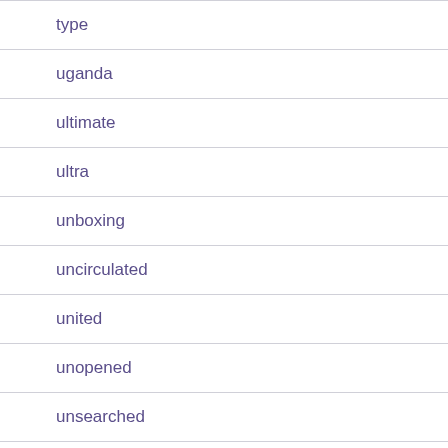type
uganda
ultimate
ultra
unboxing
uncirculated
united
unopened
unsearched
usworld